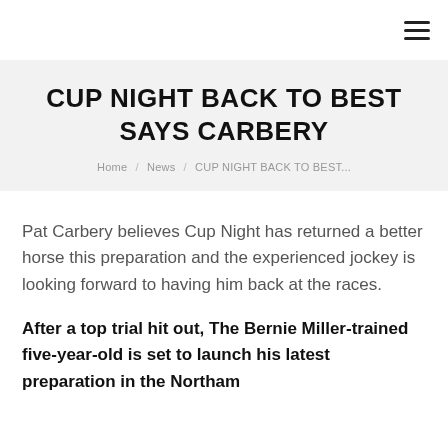☰
CUP NIGHT BACK TO BEST SAYS CARBERY
Home / News / CUP NIGHT BACK TO BEST...
Pat Carbery believes Cup Night has returned a better horse this preparation and the experienced jockey is looking forward to having him back at the races.
After a top trial hit out, The Bernie Miller-trained five-year-old is set to launch his latest preparation in the Northam